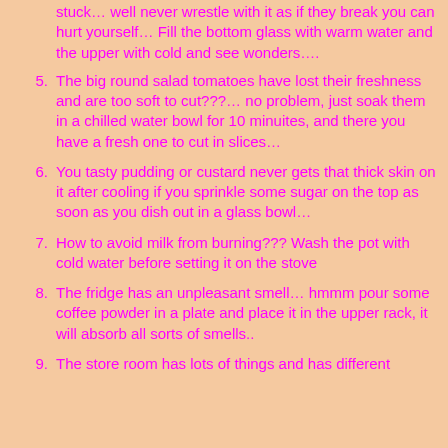(partial) stuck… well never wrestle with it as if they break you can hurt yourself… Fill the bottom glass with warm water and the upper with cold and see wonders….
5. The big round salad tomatoes have lost their freshness and are too soft to cut???… no problem, just soak them in a chilled water bowl for 10 minuites, and there you have a fresh one to cut in slices…
6. You tasty pudding or custard never gets that thick skin on it after cooling if you sprinkle some sugar on the top as soon as you dish out in a glass bowl…
7. How to avoid milk from burning??? Wash the pot with cold water before setting it on the stove
8. The fridge has an unpleasant smell… hmmm pour some coffee powder in a plate and place it in the upper rack, it will absorb all sorts of smells..
9. The store room has lots of things and has different